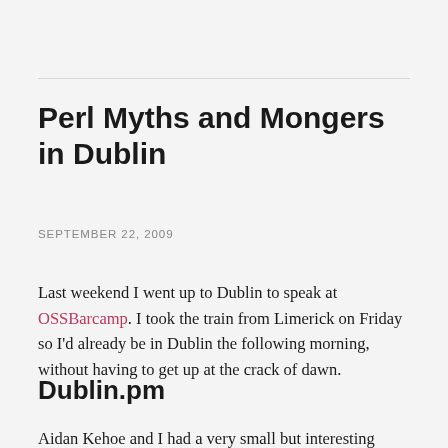Perl Myths and Mongers in Dublin
SEPTEMBER 22, 2009
Last weekend I went up to Dublin to speak at OSSBarcamp. I took the train from Limerick on Friday so I'd already be in Dublin the following morning, without having to get up at the crack of dawn.
Dublin.pm
Aidan Kehoe and I had a very small but interesting